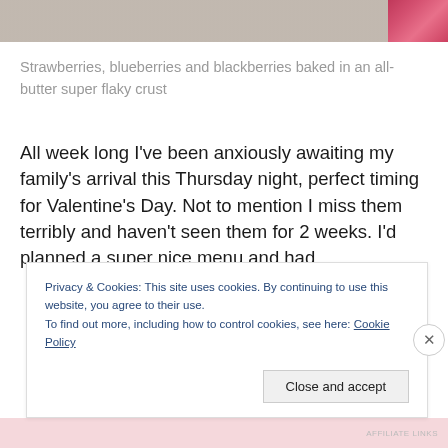[Figure (photo): Top portion of a food photo showing a wooden surface background with a pink/red striped cloth or napkin visible on the right edge]
Strawberries, blueberries and blackberries baked in an all-butter super flaky crust
All week long I’ve been anxiously awaiting my family’s arrival this Thursday night, perfect timing for Valentine’s Day. Not to mention I miss them terribly and haven’t seen them for 2 weeks. I’d planned a super nice menu and had
Privacy & Cookies: This site uses cookies. By continuing to use this website, you agree to their use.
To find out more, including how to control cookies, see here: Cookie Policy

Close and accept